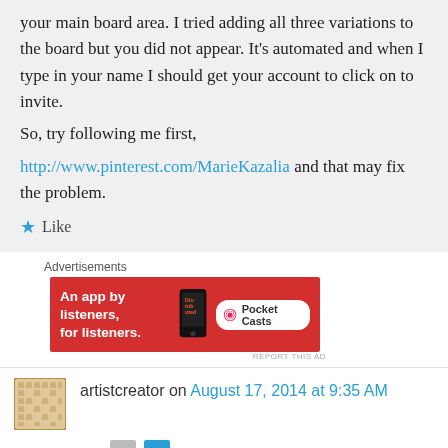your main board area. I tried adding all three variations to the board but you did not appear. It's automated and when I type in your name I should get your account to click on to invite.
So, try following me first,
http://www.pinterest.com/MarieKazalia and that may fix the problem.
★ Like
Advertisements
[Figure (other): Pocket Casts advertisement banner: red background, text 'An app by listeners, for listeners.' with phone graphic and Pocket Casts logo]
REPORT THIS AD
artistcreator on August 17, 2014 at 9:35 AM